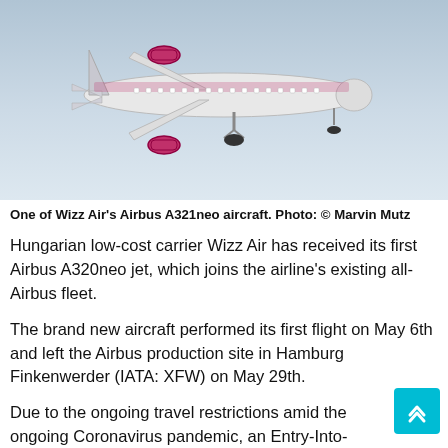[Figure (photo): A Wizz Air Airbus A321neo aircraft in flight against a light sky background, viewed from below/side. The aircraft has magenta/pink engine nacelles and livery details.]
One of Wizz Air's Airbus A321neo aircraft. Photo: © Marvin Mutz
Hungarian low-cost carrier Wizz Air has received its first Airbus A320neo jet, which joins the airline's existing all-Airbus fleet.
The brand new aircraft performed its first flight on May 6th and left the Airbus production site in Hamburg Finkenwerder (IATA: XFW) on May 29th.
Due to the ongoing travel restrictions amid the ongoing Coronavirus pandemic, an Entry-Into-Service date has not yet been set. At the moment, Wizz Air only flies a limited flight schedule but expects to